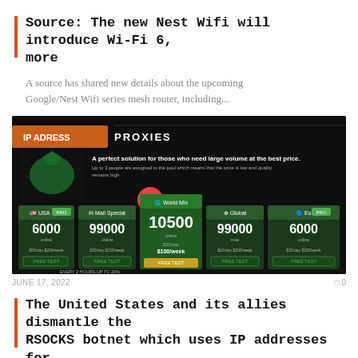Source: The new Nest Wifi will introduce Wi-Fi 6, more
A source has shared new details about the upcoming Google/Nest Wifi series mesh router, including...
[Figure (screenshot): Screenshot of an IP address proxies advertisement website showing pricing plans: USA PRO (6000 online, $50/day $200/week), Mail Special (99000 online, $30/day $150/week), World Mix TOP (10500 online, $20/day $100/week), Global (99000 online, $60/day $200/week), Europe PRO (6000 online, $30/day $200/week). Each plan has a FREE TEST button. Header reads 'IP ADRESS PROXIES'. Footer reads 'EVERY 2 HOURS UP TO 20%'.]
JUNE 17, 2022
0 0
The United States and its allies dismantle the RSOCKS botnet which uses IP addresses for cyberattacks